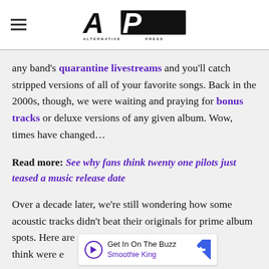Alternative Press (AP) logo with hamburger menu
any band's quarantine livestreams and you'll catch stripped versions of all of your favorite songs. Back in the 2000s, though, we were waiting and praying for bonus tracks or deluxe versions of any given album. Wow, times have changed…
Read more: See why fans think twenty one pilots just teased a music release date
Over a decade later, we're still wondering how some acoustic tracks didn't beat their originals for prime album spots. Here are 10 [obscured] think were e[obscured]